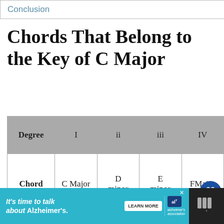Conclusion
Chords That Belong to the Key of C Major
| Degree | I | ii | iii | IV |
| --- | --- | --- | --- | --- |
| Chord | C Major | D minor | E minor | FMajor |
[Figure (other): Alzheimer's association advertisement banner: 'It's time to talk about Alzheimer's.' with LEARN MORE button and logo]
[Figure (other): Heart/like button with count 1, and share button overlaid on page]